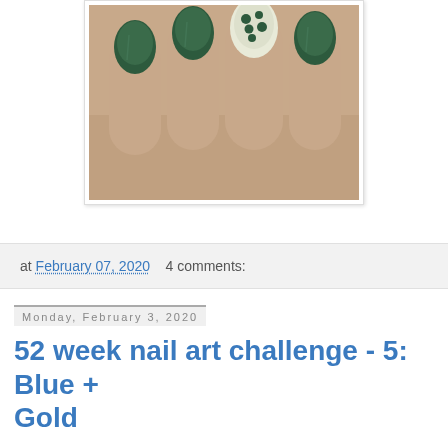[Figure (photo): Close-up photo of hand with dark green nail polish, two nails having white and green polka dot nail art design, displayed in a white photo frame with slight shadow.]
at February 07, 2020   4 comments:
Monday, February 3, 2020
52 week nail art challenge - 5: Blue + Gold
Hi everyone!
2020 steadily moves on, so this is the fifth installment of the